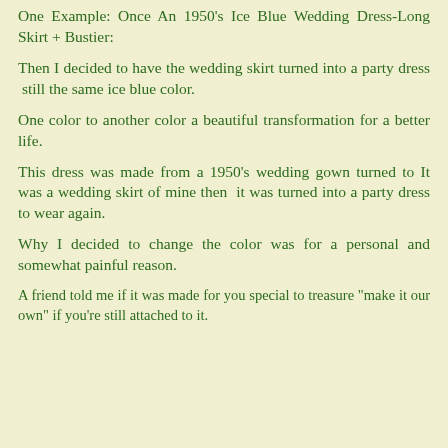One Example: Once An 1950's Ice Blue Wedding Dress-Long Skirt + Bustier:
Then I decided to have the wedding skirt turned into a party dress  still the same ice blue color.
One color to another color a beautiful transformation for a better life.
This dress was made from a 1950's wedding gown turned to It was a wedding skirt of mine then  it was turned into a party dress to wear again.
Why I decided to change the color was for a personal and somewhat painful reason.
A friend told me if it was made for you special to treasure "make it our own" if you're still attached to it.